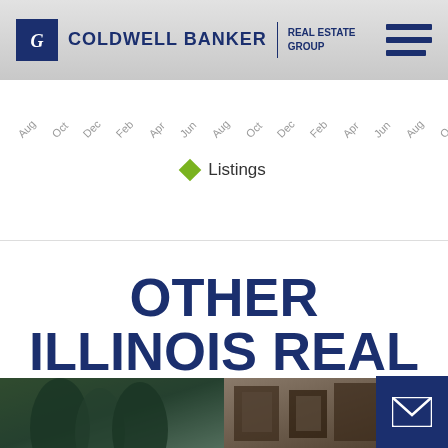[Figure (logo): Coldwell Banker Real Estate Group logo with blue square CB icon and hamburger menu]
[Figure (continuous-plot): Time series chart x-axis labels showing months: Aug, Oct, Dec, Feb, Apr, Jun repeating across multiple years]
Listings
OTHER ILLINOIS REAL ESTATE MARKETS
[Figure (photo): Two photos side by side: left shows evergreen trees in winter/dusk light, right shows interior with framed artwork]
[Figure (other): Blue mail/envelope icon button in bottom right corner]